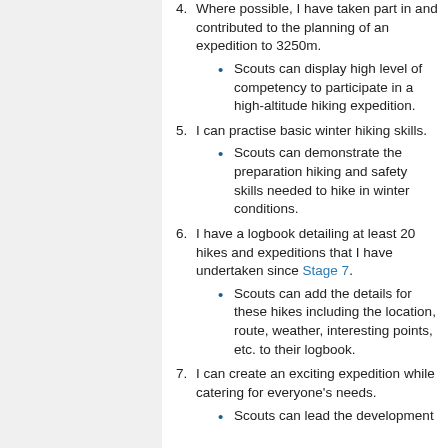4. Where possible, I have taken part in and contributed to the planning of an expedition to 3250m.
Scouts can display high level of competency to participate in a high-altitude hiking expedition.
5. I can practise basic winter hiking skills.
Scouts can demonstrate the preparation hiking and safety skills needed to hike in winter conditions.
6. I have a logbook detailing at least 20 hikes and expeditions that I have undertaken since Stage 7.
Scouts can add the details for these hikes including the location, route, weather, interesting points, etc. to their logbook.
7. I can create an exciting expedition while catering for everyone's needs.
Scouts can lead the development